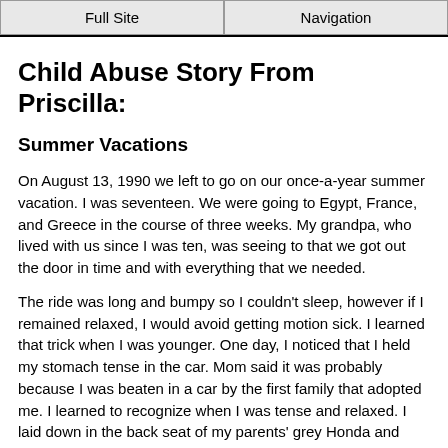Full Site | Navigation
Child Abuse Story From Priscilla:
Summer Vacations
On August 13, 1990 we left to go on our once-a-year summer vacation. I was seventeen. We were going to Egypt, France, and Greece in the course of three weeks. My grandpa, who lived with us since I was ten, was seeing to that we got out the door in time and with everything that we needed.
The ride was long and bumpy so I couldn't sleep, however if I remained relaxed, I would avoid getting motion sick. I learned that trick when I was younger. One day, I noticed that I held my stomach tense in the car. Mom said it was probably because I was beaten in a car by the first family that adopted me. I learned to recognize when I was tense and relaxed. I laid down in the back seat of my parents' grey Honda and kept my eyes shut the entire way to the airport. It was early so the traffic was not too bad.
We boarded at 11:30 and arrived in Paris around 9:00 p.m.